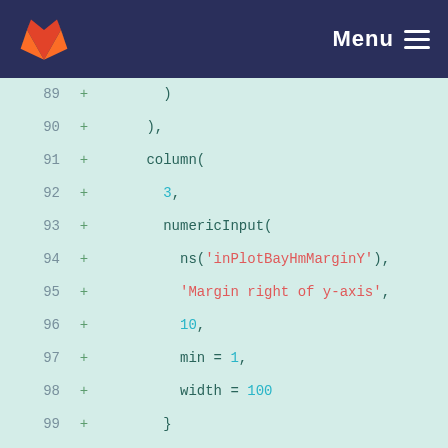GitLab — Menu
[Figure (screenshot): Code diff view showing lines 89-108 of an R file with numericInput functions for plot margin and font size settings]